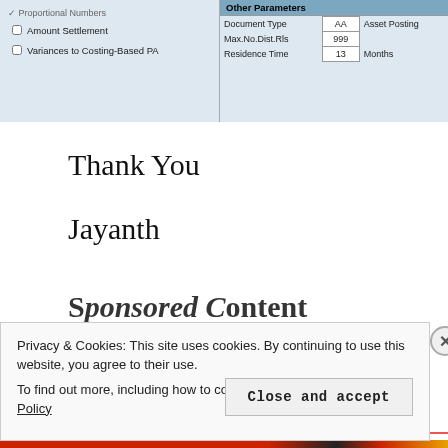[Figure (screenshot): Screenshot of a configuration UI panel showing two sections: a left panel with checkboxes for 'Amount Settlement' and 'Variances to Costing-Based PA', and a right panel titled 'Other Parameters' with a table showing Document Type AA Asset Posting, Max.No.Dist.Rls 999, Residence Time 13 Months.]
Thank You
Jayanth
Sponsored Content
Privacy & Cookies: This site uses cookies. By continuing to use this website, you agree to their use.
To find out more, including how to control cookies, see here: Cookie Policy
Close and accept